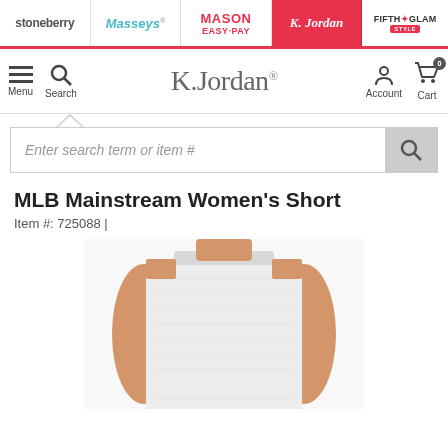stoneberry | Masseys | MASON EASY-PAY | K. Jordan | FIFTH GLAM
[Figure (screenshot): K. Jordan website navigation bar with Menu, Search, K.Jordan logo, Account, and Cart (0) icons]
[Figure (screenshot): Search bar with placeholder text 'Enter search term or item #' and search button]
MLB Mainstream Women's Short
Item #: 725088 |
[Figure (photo): Photo of a woman wearing a white short-sleeve shirt, cropped to show torso only]